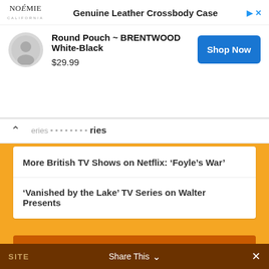[Figure (screenshot): Advertisement banner for Noémie California Genuine Leather Crossbody Case - Round Pouch BRENTWOOD White-Black priced at $29.99 with Shop Now button]
ries
More British TV Shows on Netflix: ‘Foyle’s War’
‘Vanished by the Lake’ TV Series on Walter Presents
ARCHIVES
Select Month
SITE   Share This   ×